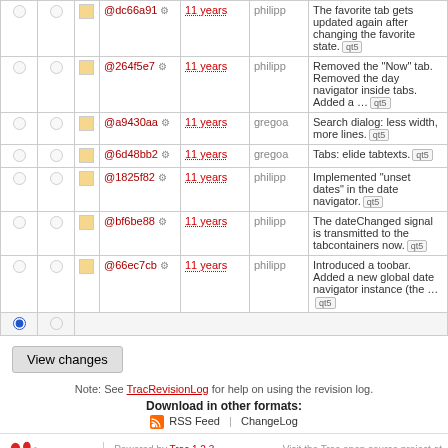|  |  |  | Rev |  | Age | Author | Log Message |
| --- | --- | --- | --- | --- | --- | --- | --- |
| ○ | ○ | □ | @dc66a91 | ⚙ | 11 years | philipp | The favorite tab gets updated again after changing the favorite state. [qt5] |
| ○ | ○ | □ | @264f5e7 | ⚙ | 11 years | philipp | Removed the "Now" tab. Removed the day navigator inside tabs. Added a ... [qt5] |
| ○ | ○ | □ | @a9430aa | ⚙ | 11 years | gregoa | Search dialog: less width, more lines. [qt5] |
| ○ | ○ | □ | @6d48bb2 | ⚙ | 11 years | gregoa | Tabs: elide tabtexts. [qt5] |
| ○ | ○ | □ | @1825f82 | ⚙ | 11 years | philipp | Implemented "unset dates" in the date navigator. [qt5] |
| ○ | ○ | □ | @bf6be88 | ⚙ | 11 years | philipp | The dateChanged signal is transmitted to the tabcontainers now. [qt5] |
| ○ | ○ | □ | @66ec7cb | ⚙ | 11 years | philipp | Introduced a toobar. Added a new global date navigator instance (the ... [qt5] |
| ● | ○ |  |  |  |  |  |  |
View changes
Note: See TracRevisionLog for help on using the revision log.
Download in other formats: RSS Feed | ChangeLog
Powered by Trac 1.2.3 By Edgewall Software. Visit the Trac open source project at http://trac.edgewall.org/